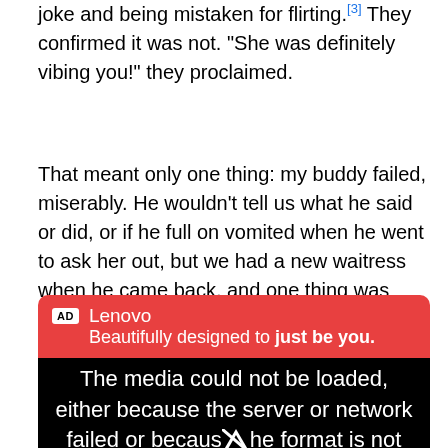joke and being mistaken for flirting.[3] They confirmed it was not. "She was definitely vibing you!" they proclaimed.
That meant only one thing: my buddy failed, miserably. He wouldn't tell us what he said or did, or if he full on vomited when he went to ask her out, but we had a new waitress when he came back, and one thing was undeniable clear: he let one slip away. He had no business leaving without that girls phone number, but somehow, someway, he couldn't come through.
[Figure (screenshot): Advertisement for Lenovo with red header showing 'AD' badge, brand name 'Lenovo', tagline 'Beautifully designed to just be you.' and a black video player section showing 'The media could not be loaded, either because the server or network failed or because the format is not']